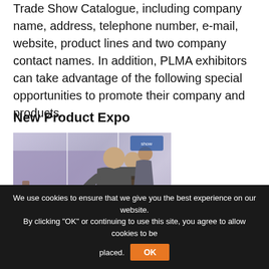Trade Show Catalogue, including company name, address, telephone number, e-mail, website, product lines and two company contact names. In addition, PLMA exhibitors can take advantage of the following special opportunities to promote their company and products.
New Product Expo
[Figure (photo): A man in a suit leaning over a display case examining products at what appears to be a trade show expo, with purple-accented booth displays in the background.]
We use cookies to ensure that we give you the best experience on our website. By clicking "OK" or continuing to use this site, you agree to allow cookies to be placed.